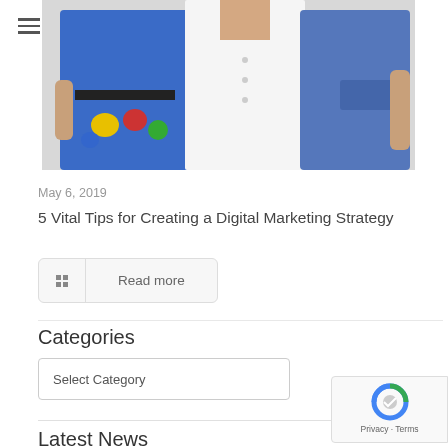[Figure (photo): A photo showing three medical/healthcare workers from the torso down: person in blue apron with colorful tools/markers on the left, person in white lab coat in the center, person in blue scrubs on the right.]
May 6, 2019
5 Vital Tips for Creating a Digital Marketing Strategy
Read more
Categories
Select Category
Latest News